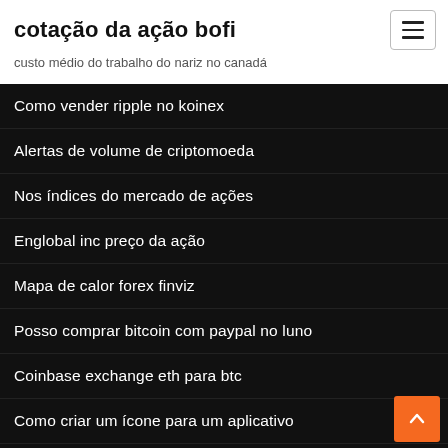cotação da ação bofi
custo médio do trabalho do nariz no canadá
Como vender ripple no koinex
Alertas de volume de criptomoeda
Nos índices do mercado de ações
Englobal inc preço da ação
Mapa de calor forex finviz
Posso comprar bitcoin com paypal no luno
Coinbase exchange eth para btc
Como criar um ícone para um aplicativo
Forex india
Preço das ações irtc india